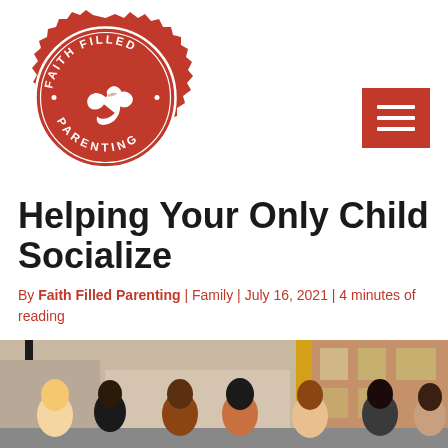[Figure (logo): Faith Filled Parenting badge logo — red scalloped circle with a white dove in the center and text 'FAITH FILLED PARENTING' around the ring with dots]
[Figure (other): Red square hamburger menu button with three white horizontal lines]
Helping Your Only Child Socialize
By Faith Filled Parenting | Family | July 16, 2021 | 4 minutes of reading
[Figure (photo): Group of children standing outside near brick buildings, partial view cropped at bottom of page]